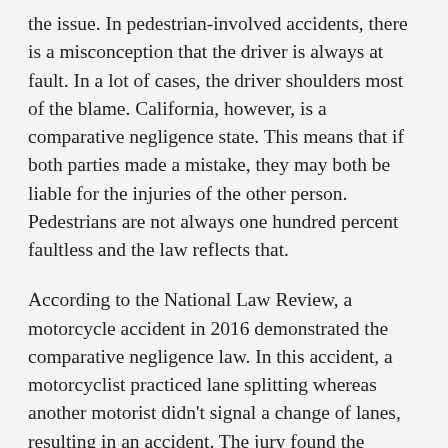the issue. In pedestrian-involved accidents, there is a misconception that the driver is always at fault. In a lot of cases, the driver shoulders most of the blame. California, however, is a comparative negligence state. This means that if both parties made a mistake, they may both be liable for the injuries of the other person. Pedestrians are not always one hundred percent faultless and the law reflects that.
According to the National Law Review, a motorcycle accident in 2016 demonstrated the comparative negligence law. In this accident, a motorcyclist practiced lane splitting whereas another motorist didn't signal a change of lanes, resulting in an accident. The jury found the plaintiff partially responsible for the accident and while he received an award, the jury cut his reward by the percentage of his fault.